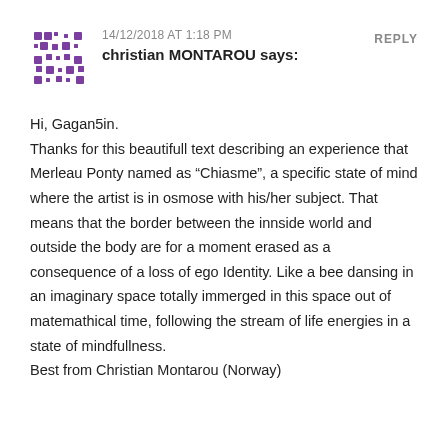[Figure (illustration): Purple pixelated/mosaic avatar icon made of small squares arranged in a pattern]
14/12/2018 AT 1:18 PM
REPLY
christian MONTAROU says:
Hi, Gagan5in.
Thanks for this beautifull text describing an experience that Merleau Ponty named as “Chiasme”, a specific state of mind where the artist is in osmose with his/her subject. That means that the border between the innside world and outside the body are for a moment erased as a consequence of a loss of ego Identity. Like a bee dansing in an imaginary space totally immerged in this space out of matemathical time, following the stream of life energies in a state of mindfullness.
Best from Christian Montarou (Norway)